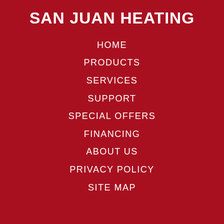SAN JUAN HEATING
HOME
PRODUCTS
SERVICES
SUPPORT
SPECIAL OFFERS
FINANCING
ABOUT US
PRIVACY POLICY
SITE MAP